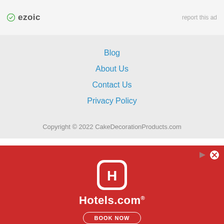[Figure (logo): Ezoic logo with green circle icon and grey 'ezoic' text, plus 'report this ad' link on the right]
Blog
About Us
Contact Us
Privacy Policy
Copyright © 2022 CakeDecorationProducts.com
[Figure (screenshot): Hotels.com advertisement banner on red background with app icon, Hotels.com logo, and BOOK NOW button]